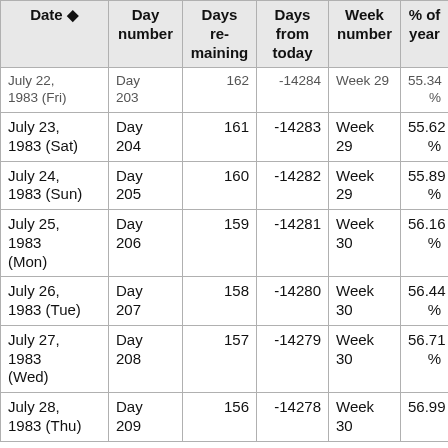| Date ⬦ | Day number | Days remaining | Days from today | Week number | % of year |
| --- | --- | --- | --- | --- | --- |
| July 22, 1983 (Fri) | Day 203 | 162 | -14284 | Week 29 | 55.34% |
| July 23, 1983 (Sat) | Day 204 | 161 | -14283 | Week 29 | 55.62% |
| July 24, 1983 (Sun) | Day 205 | 160 | -14282 | Week 29 | 55.89% |
| July 25, 1983 (Mon) | Day 206 | 159 | -14281 | Week 30 | 56.16% |
| July 26, 1983 (Tue) | Day 207 | 158 | -14280 | Week 30 | 56.44% |
| July 27, 1983 (Wed) | Day 208 | 157 | -14279 | Week 30 | 56.71% |
| July 28, 1983 (Thu) | Day 209 | 156 | -14278 | Week 30 | 56.99% |